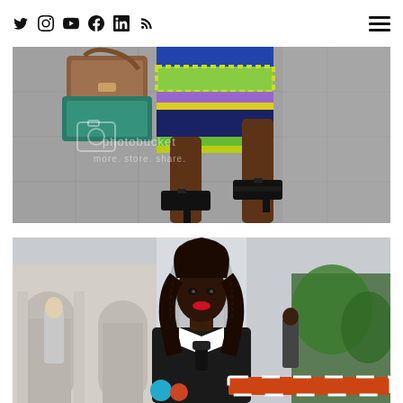Social media navigation bar with Twitter, Instagram, YouTube, Facebook, LinkedIn, RSS icons and hamburger menu
[Figure (photo): Close-up street photo showing a person's lower body wearing a colorful striped skirt (green, blue, purple, yellow) and carrying a brown/tan leather purse, wearing black open-toe high heels, walking on a stone sidewalk. Photobucket watermark visible.]
[Figure (photo): Street fashion photo of a Black woman with long braided hair and red lipstick, wearing a white collared shirt with dark jacket/tie, standing in front of classical arched architecture (possibly an Italian piazza). Other pedestrians and greenery visible in background.]